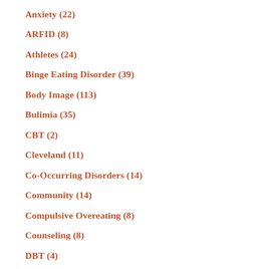Anorexia (63)
Anxiety (22)
ARFID (8)
Athletes (24)
Binge Eating Disorder (39)
Body Image (113)
Bulimia (35)
CBT (2)
Cleveland (11)
Co-Occurring Disorders (14)
Community (14)
Compulsive Overeating (8)
Counseling (8)
DBT (4)
Eating Disorder Recovery (112)
Eating Disorders (419)